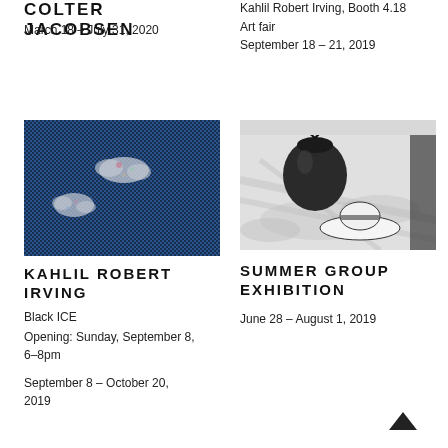COLTER JACOBSEN
March 18 – July 31, 2020
Kahlil Robert Irving, Booth 4.18
Art fair
September 18 – 21, 2019
[Figure (photo): Abstract blue textured image with small white cloud-like shapes scattered across a dark blue woven or fabric background]
[Figure (photo): Black and white photograph of a dark round vase/vessel and a white hat on a table with dappled light shadows]
KAHLIL ROBERT IRVING
Black ICE
Opening: Sunday, September 8, 6–8pm
September 8 – October 20, 2019
SUMMER GROUP EXHIBITION
June 28 – August 1, 2019